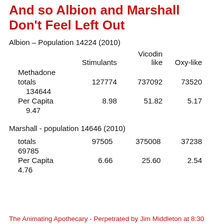And so Albion and Marshall Don't Feel Left Out
Albion – Population 14224 (2010)
|  | Stimulants | Vicodin like | Oxy-like |
| --- | --- | --- | --- |
| Methadone totals | 127774 | 737092 | 73520 |
| 134644 |  |  |  |
| Per Capita | 8.98 | 51.82 | 5.17 |
| 9.47 |  |  |  |
Marshall - population 14646 (2010)
|  | Stimulants | Vicodin like | Oxy-like |
| --- | --- | --- | --- |
| totals | 97505 | 375008 | 37238 |
| 69785 |  |  |  |
| Per Capita | 6.66 | 25.60 | 2.54 |
| 4.76 |  |  |  |
The Animating Apothecary - Perpetrated by Jim Middleton at 8:30